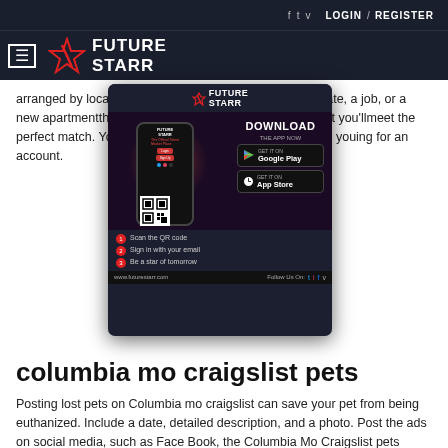f  t  v  LOGIN / REGISTER
FUTURE STARR
arranged by location. You'll be able to find a new roommate, a job, or a new apartment through Craigslist Columbia is so local that you'll meet the perfect match. You'll find listings through Craigslist Columbia, and you won't need to pay anything for an account.
[Figure (screenshot): FutureStarr app advertisement overlay showing phone mockup, download buttons for Google Play and App Store, QR code, steps list, and website URL www.futurestarr.com]
columbia mo craigslist pets
Posting lost pets on Columbia mo craigslist can save your pet from being euthanized. Include a date, detailed description, and a photo. Post the ads on social media, such as Face Book, the Columbia Mo Craigslist pets page, and at major intersections. Another option is to print out and distribute flyers. Make sure to put the pet's name and contact information.